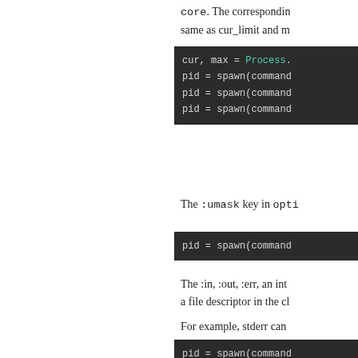core. The corresponding same as cur_limit and m
[Figure (screenshot): Code block showing: cur, max = Process. / pid = spawn(command / pid = spawn(command / pid = spawn(command]
The :umask key in opti
[Figure (screenshot): Code block showing: pid = spawn(command]
The :in, :out, :err, an int a file descriptor in the cl
For example, stderr can
[Figure (screenshot): Code block showing: pid = spawn(command / pid = spawn(command / pid = spawn(command]